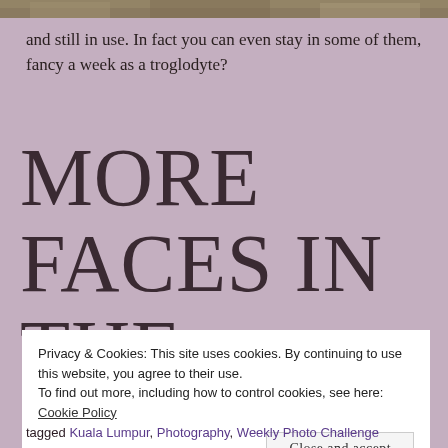[Figure (photo): Partial photo strip at top of page showing outdoor scene with rocks/nature]
and still in use. In fact you can even stay in some of them, fancy a week as a troglodyte?
MORE FACES IN THE CROWD
Privacy & Cookies: This site uses cookies. By continuing to use this website, you agree to their use.
To find out more, including how to control cookies, see here: Cookie Policy
Close and accept
tagged Kuala Lumpur, Photography, Weekly Photo Challenge